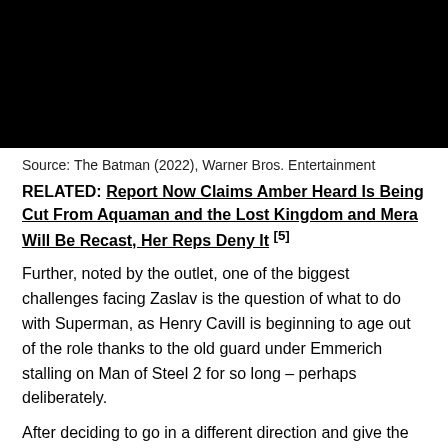[Figure (photo): Black rectangular image, likely a film still from The Batman (2022)]
Source: The Batman (2022), Warner Bros. Entertainment
RELATED: Report Now Claims Amber Heard Is Being Cut From Aquaman and the Lost Kingdom and Mera Will Be Recast, Her Reps Deny It [5]
Further, noted by the outlet, one of the biggest challenges facing Zaslav is the question of what to do with Superman, as Henry Cavill is beginning to age out of the role thanks to the old guard under Emmerich stalling on Man of Steel 2 for so long – perhaps deliberately.
After deciding to go in a different direction and give the reins over Big Blue to J.J. Abrams and controversial radical Leftist writer Ta-Nehisi Coates, all they have to show so far is a script draft that took the